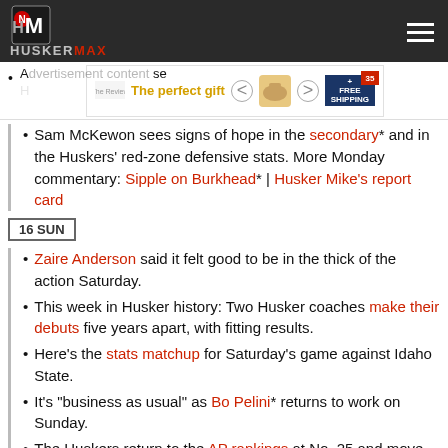HUSKERMAX
[Figure (other): Advertisement banner: The perfect gift with food/gift imagery and navigation arrows and free shipping badge]
Sam McKewon sees signs of hope in the secondary* and in the Huskers' red-zone defensive stats. More Monday commentary: Sipple on Burkhead* | Husker Mike's report card
16 SUN
Zaire Anderson said it felt good to be in the thick of the action Saturday.
This week in Husker history: Two Husker coaches make their debuts five years apart, with fitting results.
Here's the stats matchup for Saturday's game against Idaho State.
It's "business as usual" as Bo Pelini* returns to work on Sunday.
The Huskers return to the AP rankings at No. 25 and move up two spots to No. 22 in the coaches' poll.